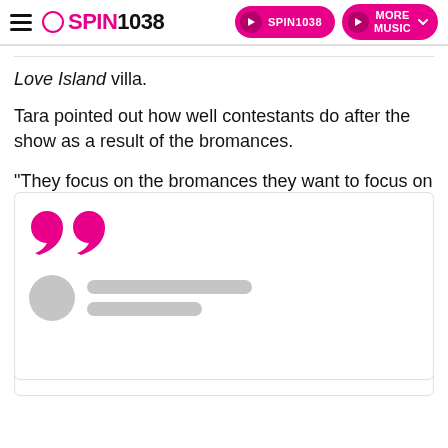SPIN1038 — with SPIN1038 and MORE MUSIC buttons
Love Island villa.
Tara pointed out how well contestants do after the show as a result of the bromances.
"They focus on the bromances they want to focus on for specific reasons," Anton surprisingly said in response.
[Figure (other): Quote card with large pink quotation marks and a blurred/redacted user avatar with two grey placeholder text lines below]